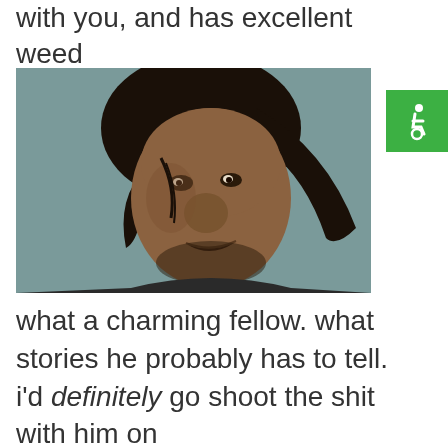with you, and has excellent weed
[Figure (photo): Close-up photo of a man with long dark hair, weathered skin, sparse beard, looking slightly upward with mouth slightly open. Background is grey-blue.]
what a charming fellow. what stories he probably has to tell. i'd definitely go shoot the shit with him on